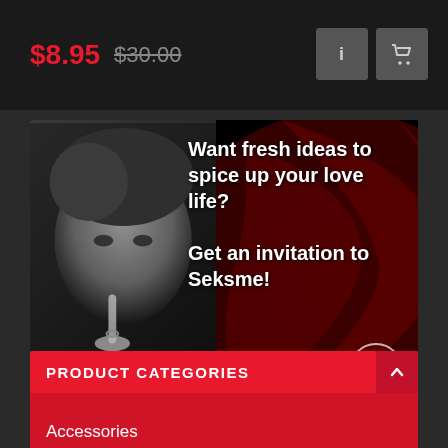$8.95  $30.00
[Figure (photo): Advertisement banner with black and white photo of a woman with finger to lips, red swirl background, text: Want fresh ideas to spice up your love life? Get an invitation to Seksme!]
PRODUCT CATEGORIES
Accessories